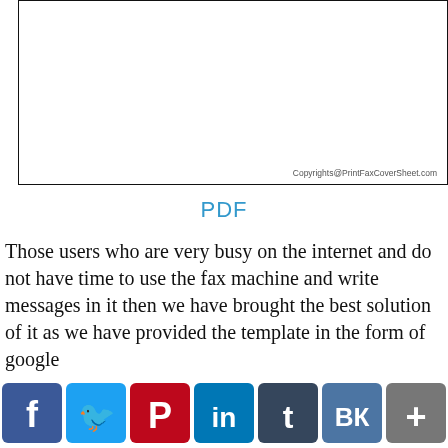[Figure (other): A white rectangular box with a thin black border, representing a fax cover sheet template area. Contains copyright text at the bottom right: 'Copyrights@PrintFaxCoverSheet.com']
PDF
Those users who are very busy on the internet and do not have time to use the fax machine and write messages in it then we have brought the best solution of it as we have provided the template in the form of google
[Figure (other): Social media sharing bar with icons: Facebook (blue), Twitter (blue bird), Pinterest (red), LinkedIn (blue), Tumblr (navy), VKontakte (blue), Share/Plus (gray)]